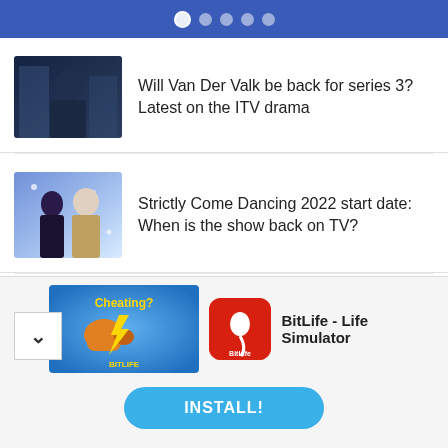Navigation dots indicator
[Figure (photo): Thumbnail image of a man for Van Der Valk ITV drama article]
Will Van Der Valk be back for series 3? Latest on the ITV drama
[Figure (photo): Thumbnail image of two women for Strictly Come Dancing article]
Strictly Come Dancing 2022 start date: When is the show back on TV?
[Figure (photo): Thumbnail image of a sofa scene for Marriage BBC drama article]
Marriage next episode and all about BBC drama with Sean Bean and Nicola Walker
[Figure (screenshot): Ad banner for BitLife - Life Simulator app showing install button]